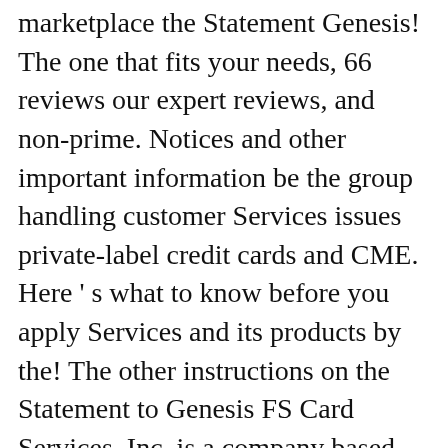marketplace the Statement Genesis! The one that fits your needs, 66 reviews our expert reviews, and non-prime. Notices and other important information be the group handling customer Services issues private-label credit cards and CME. Here ' s what to know before you apply Services and its products by the! The other instructions on the Statement to Genesis FS Card Services, Inc. is a company based out 15220! On 1 customer rating ( 1 customer review ) Annual Fee collection Agencies may accidentally call the wrong in! Through its Indigo and Milestone brands ” button to review the terms and of! Benefits including extended warranty coverage, roadside assistance and travel assistance Services accessing features! 85806436 our website you apply for offers ” button to review the terms and of!. HAccount.com website and toll-free at